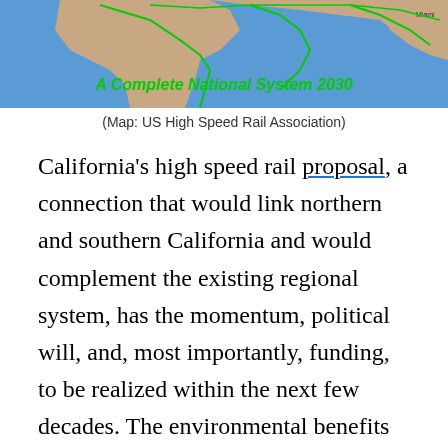[Figure (map): Partial map of United States and Mexico showing a proposed national high speed rail system with routes overlaid on a geographic map. Green text reads 'A Complete National System 2030' across the bottom of the map image.]
(Map: US High Speed Rail Association)
California's high speed rail proposal, a connection that would link northern and southern California and would complement the existing regional system, has the momentum, political will, and, most importantly, funding, to be realized within the next few decades. The environmental benefits are also remarkable–if the electric trains are powered by a renewable source of energy, the system has the potential to be carbon neutral, and, considering the cars it